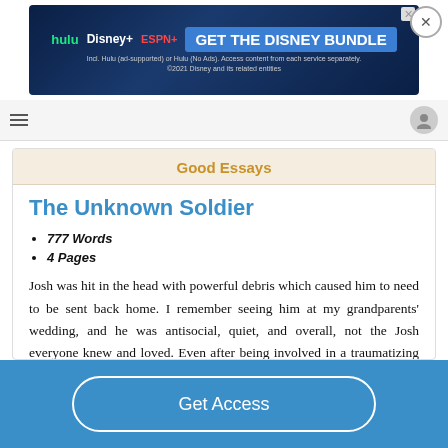[Figure (screenshot): Disney Bundle advertisement banner with Hulu, Disney+, ESPN+ logos and GET THE DISNEY BUNDLE call to action]
Good Essays
The Unknown Soldier
777 Words
4 Pages
Josh was hit in the head with powerful debris which caused him to need to be sent back home. I remember seeing him at my grandparents' wedding, and he was antisocial, quiet, and overall, not the Josh everyone knew and loved. Even after being involved in a traumatizing experience like that,
Get Access